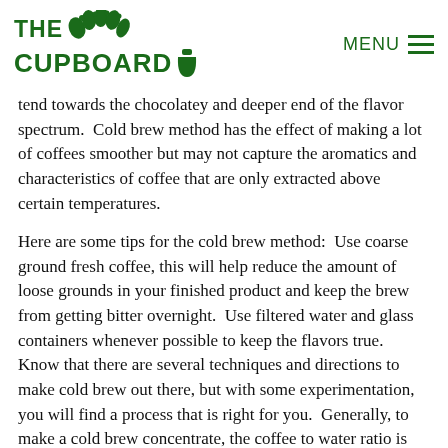THE CUPBOARD | MENU
tend towards the chocolatey and deeper end of the flavor spectrum.  Cold brew method has the effect of making a lot of coffees smoother but may not capture the aromatics and characteristics of coffee that are only extracted above certain temperatures.
Here are some tips for the cold brew method:  Use coarse ground fresh coffee, this will help reduce the amount of loose grounds in your finished product and keep the brew from getting bitter overnight.  Use filtered water and glass containers whenever possible to keep the flavors true.  Know that there are several techniques and directions to make cold brew out there, but with some experimentation, you will find a process that is right for you.  Generally, to make a cold brew concentrate, the coffee to water ratio is 1:4 (i.e. 1 cup ground coffee to 4 cups water).  This